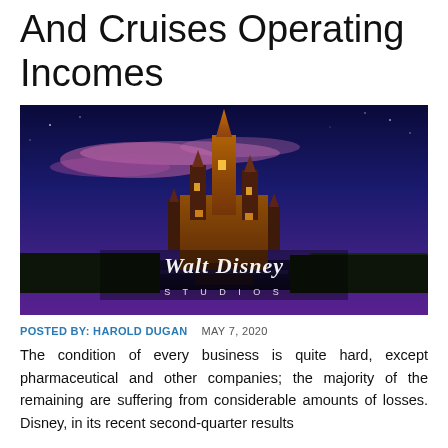And Cruises Operating Incomes
[Figure (photo): Walt Disney Studios promotional image showing Cinderella's castle lit up at dusk with a purple/blue sky and the Walt Disney Studios logo text overlay]
POSTED BY: HAROLD DUGAN   MAY 7, 2020
The condition of every business is quite hard, except pharmaceutical and other companies; the majority of the remaining are suffering from considerable amounts of losses. Disney, in its recent second-quarter results